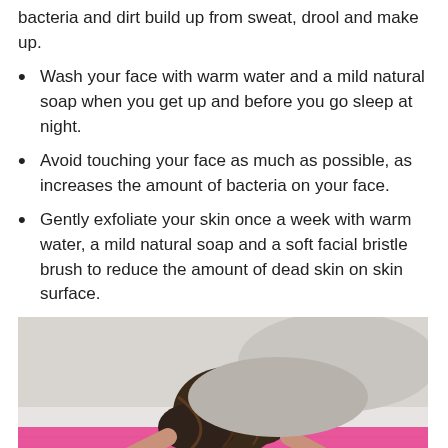bacteria and dirt build up from sweat, drool and make up.
Wash your face with warm water and a mild natural soap when you get up and before you go sleep at night.
Avoid touching your face as much as possible, as increases the amount of bacteria on your face.
Gently exfoliate your skin once a week with warm water, a mild natural soap and a soft facial bristle brush to reduce the amount of dead skin on skin surface.
[Figure (photo): A woman in workout clothes lying face down on a pink yoga mat with arms stretched forward, viewed from above/behind, hands with pink nail polish visible on the mat.]